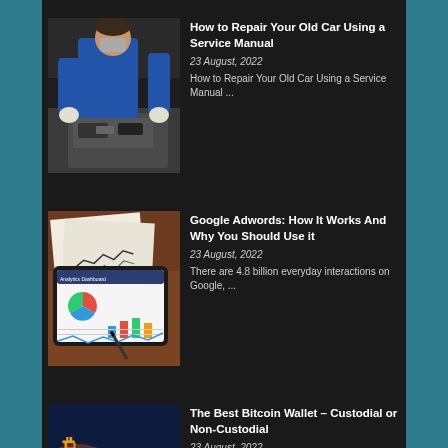[Figure (photo): A mechanic in a blue uniform leaning over the open hood of a car, working on the engine.]
How to Repair Your Old Car Using a Service Manual
23 August, 2022
How to Repair Your Old Car Using a Service Manual ...
[Figure (photo): A tablet device showing a dashboard with charts, placed on top of printed documents on a wooden desk with a pen.]
Google Adwords: How It Works And Why You Should Use it
23 August, 2022
There are 4.8 billion everyday interactions on Google, ...
[Figure (photo): A dark blue background with an orange and red circular logo or icon partially visible at the bottom.]
The Best Bitcoin Wallet – Custodial or Non-Custodial
23 August, 2022